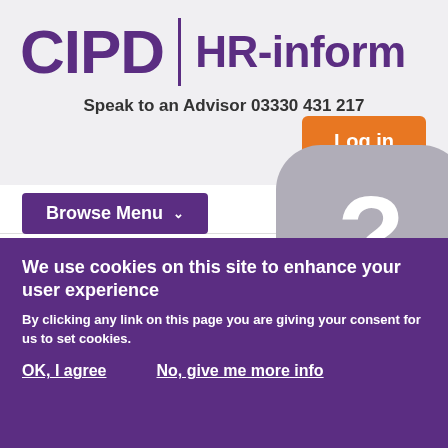[Figure (logo): CIPD HR-inform logo with large purple text]
Speak to an Advisor 03330 431 217
Log in
Browse Menu
Search inside 2100
We use cookies on this site to enhance your user experience
By clicking any link on this page you are giving your consent for us to set cookies.
OK, I agree
No, give me more info
FREE ARTICLES
Get Instant Access
No credit card required
Managing Coronavirus issues at w
Topics > Employment law > Business principles > Managing Coronavirus issues at work